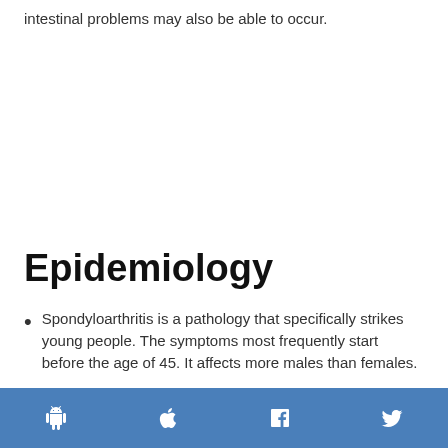intestinal problems may also be able to occur.
Epidemiology
Spondyloarthritis is a pathology that specifically strikes young people. The symptoms most frequently start before the age of 45. It affects more males than females.
Predisposition to spondyloarthritis, especially SpA, is determined largely by genetic factors.
[social media icons: Android, Apple, Facebook, Twitter]